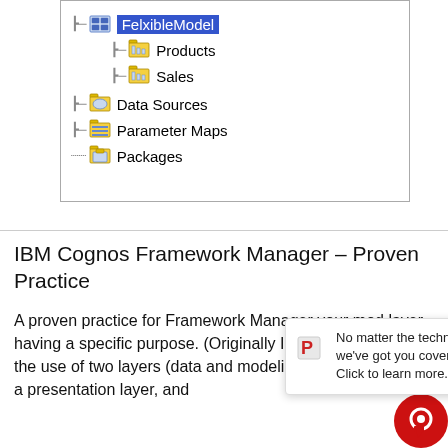[Figure (screenshot): IBM Cognos Framework Manager project tree showing FelxibleModel selected (highlighted in blue), with child nodes Products and Sales, and sibling nodes Data Sources, Parameter Maps, and Packages — each with folder/table icons and expand/collapse controls.]
IBM Cognos Framework Manager – Proven Practice
A proven practice for Framework Manager ... your mod... layer having a specific purpose. (Originally IBM recommended the use of two layers (data and modeling), but later added a presentation layer, and